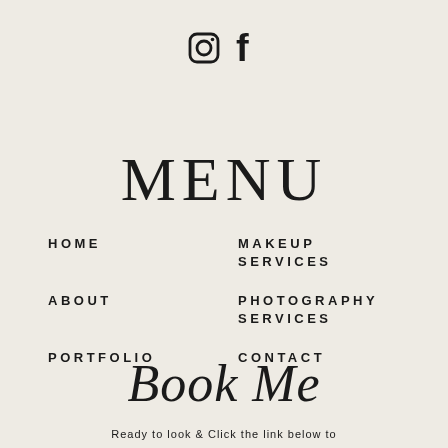[Figure (logo): Instagram and Facebook social media icons centered at top]
MENU
HOME
MAKEUP SERVICES
ABOUT
PHOTOGRAPHY SERVICES
PORTFOLIO
CONTACT
Book Me
Ready to look & Click the link below to